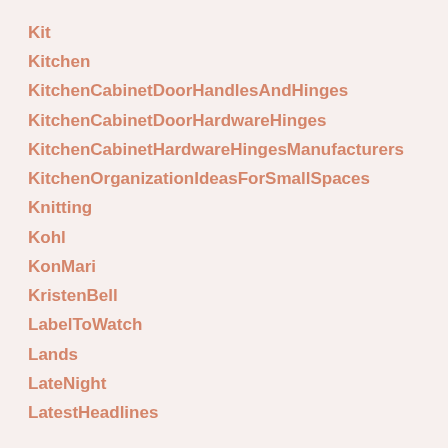Kit
Kitchen
KitchenCabinetDoorHandlesAndHinges
KitchenCabinetDoorHardwareHinges
KitchenCabinetHardwareHingesManufacturers
KitchenOrganizationIdeasForSmallSpaces
Knitting
Kohl
KonMari
KristenBell
LabelToWatch
Lands
LateNight
LatestHeadlines